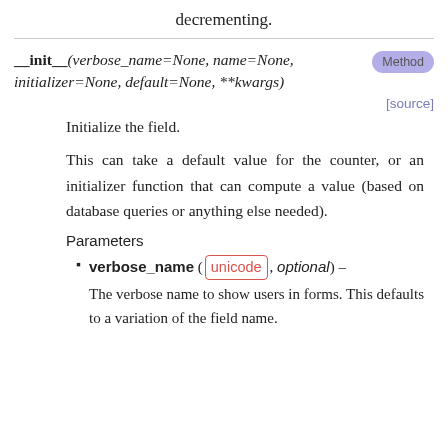decrementing.
__init__(verbose_name=None, name=None, initializer=None, default=None, **kwargs)
Method
[source]
Initialize the field.
This can take a default value for the counter, or an initializer function that can compute a value (based on database queries or anything else needed).
Parameters
verbose_name (unicode, optional) – The verbose name to show users in forms. This defaults to a variation of the field name.